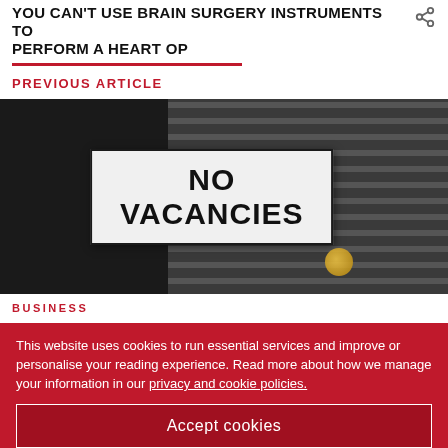YOU CAN'T USE BRAIN SURGERY INSTRUMENTS TO PERFORM A HEART OP
PREVIOUS ARTICLE
[Figure (photo): A 'NO VACANCIES' sign hanging in a dark window with venetian blind stripes in background]
BUSINESS
Down with fiefdoms: creating jobs is a task for all state departments
This website uses cookies to run essential services and improve or personalise your reading experience. Read more about how we manage your information in our privacy and cookie policies.
Accept cookies